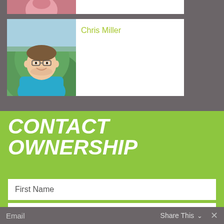[Figure (photo): Partial view of a person in a pink shirt — top portion cropped]
Chris Miller
[Figure (photo): Photo of Chris Miller, a man in a blue polo shirt smiling, outdoors with greenery in background]
CONTACT OWNERSHIP
First Name
Last Name
Email
Share This